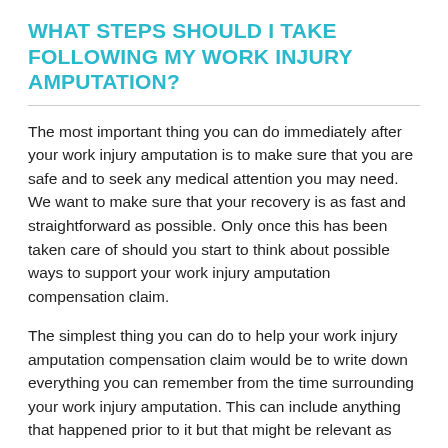WHAT STEPS SHOULD I TAKE FOLLOWING MY WORK INJURY AMPUTATION?
The most important thing you can do immediately after your work injury amputation is to make sure that you are safe and to seek any medical attention you may need. We want to make sure that your recovery is as fast and straightforward as possible. Only once this has been taken care of should you start to think about possible ways to support your work injury amputation compensation claim.
The simplest thing you can do to help your work injury amputation compensation claim would be to write down everything you can remember from the time surrounding your work injury amputation. This can include anything that happened prior to it but that might be relevant as well as details of the aftermath. The more details that you can write down now, the easier it will be for you to remember all